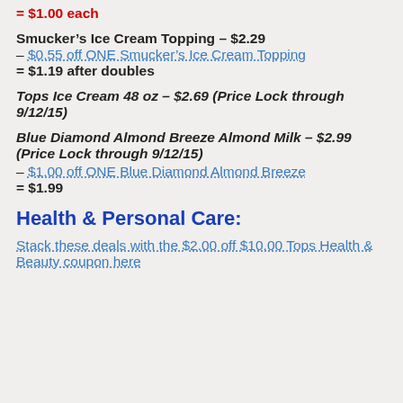= $1.00 each
Smucker's Ice Cream Topping – $2.29
– $0.55 off ONE Smucker's Ice Cream Topping
= $1.19 after doubles
Tops Ice Cream 48 oz – $2.69 (Price Lock through 9/12/15)
Blue Diamond Almond Breeze Almond Milk – $2.99 (Price Lock through 9/12/15)
– $1.00 off ONE Blue Diamond Almond Breeze
= $1.99
Health & Personal Care:
Stack these deals with the $2.00 off $10.00 Tops Health & Beauty coupon here